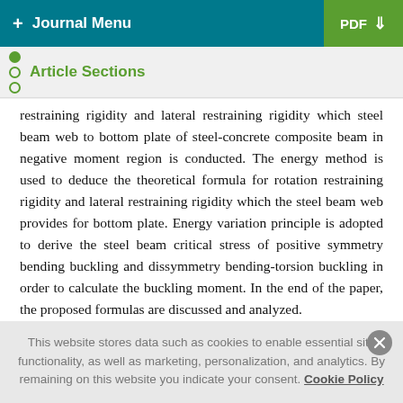+ Journal Menu | PDF
Article Sections
restraining rigidity and lateral restraining rigidity which steel beam web to bottom plate of steel-concrete composite beam in negative moment region is conducted. The energy method is used to deduce the theoretical formula for rotation restraining rigidity and lateral restraining rigidity which the steel beam web provides for bottom plate. Energy variation principle is adopted to derive the steel beam critical stress of positive symmetry bending buckling and dissymmetry bending-torsion buckling in order to calculate the buckling moment. In the end of the paper, the proposed formulas are discussed and analyzed.
This website stores data such as cookies to enable essential site functionality, as well as marketing, personalization, and analytics. By remaining on this website you indicate your consent. Cookie Policy